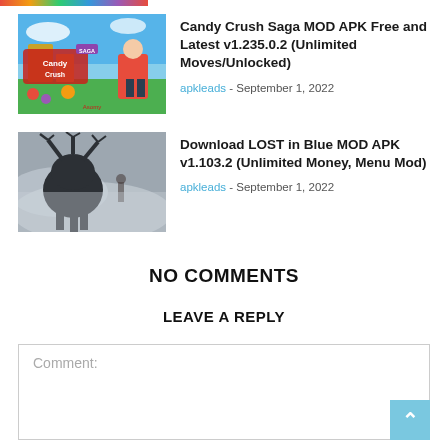[Figure (illustration): Colored strip at top of page (partial, cut off)]
[Figure (photo): Candy Crush Saga MOD APK game thumbnail showing colorful game art with candy characters]
Candy Crush Saga MOD APK Free and Latest v1.235.0.2 (Unlimited Moves/Unlocked)
apkleads - September 1, 2022
[Figure (photo): LOST in Blue MOD APK game thumbnail showing dark fantasy creature in foggy landscape]
Download LOST in Blue MOD APK v1.103.2 (Unlimited Money, Menu Mod)
apkleads - September 1, 2022
NO COMMENTS
LEAVE A REPLY
Comment: